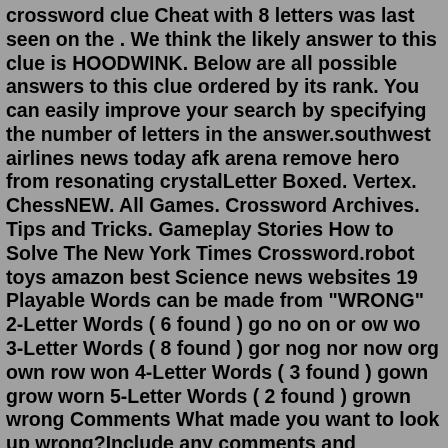crossword clue Cheat with 8 letters was last seen on the . We think the likely answer to this clue is HOODWINK. Below are all possible answers to this clue ordered by its rank. You can easily improve your search by specifying the number of letters in the answer.southwest airlines news today afk arena remove hero from resonating crystalLetter Boxed. Vertex. ChessNEW. All Games. Crossword Archives. Tips and Tricks. Gameplay Stories How to Solve The New York Times Crossword.robot toys amazon best Science news websites 19 Playable Words can be made from "WRONG" 2-Letter Words ( 6 found ) go no on or ow wo 3-Letter Words ( 8 found ) gor nog nor now org own row won 4-Letter Words ( 3 found ) gown grow worn 5-Letter Words ( 2 found ) grown wrong Comments What made you want to look up wrong?Include any comments and questions you have about this word.Synonyms for wise include intelligent, sage, discerning, informed, sagacious, shrewd, clever, enlightened, knowing and sensible. Find more similar words at wordhippo.com! Irregularity. Today's